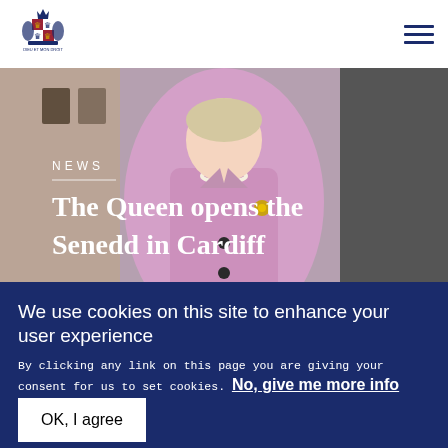[Figure (logo): Royal coat of arms / government crest logo in blue]
[Figure (photo): The Queen in a pink coat and pearl necklace standing in a building interior]
NEWS
The Queen opens the Senedd in Cardiff
We use cookies on this site to enhance your user experience
By clicking any link on this page you are giving your consent for us to set cookies. No, give me more info
OK, I agree